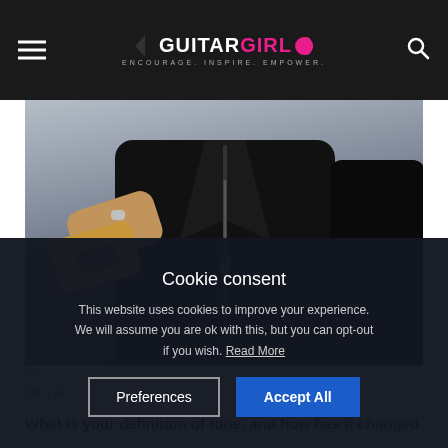Guitar Girl Magazine — ENCOURAGE. INSPIRE. EMPOWER.
[Figure (photo): A person wearing a black leather jacket holding a guitar, photographed from mid-torso down against a light grey background.]
Ph...
Le... a...
Cookie consent
This website uses cookies to improve your experience. We will assume you are ok with this, but you can opt-out if you wish. Read More
What is your definition of tone, and how has it changed